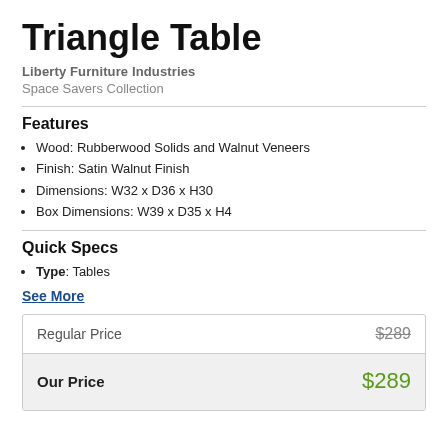Triangle Table
Liberty Furniture Industries
Space Savers Collection
Features
Wood: Rubberwood Solids and Walnut Veneers
Finish: Satin Walnut Finish
Dimensions: W32 x D36 x H30
Box Dimensions: W39 x D35 x H4
Quick Specs
Type: Tables
See More
|  |  |
| --- | --- |
| Regular Price | $289 |
| Our Price | $289 |